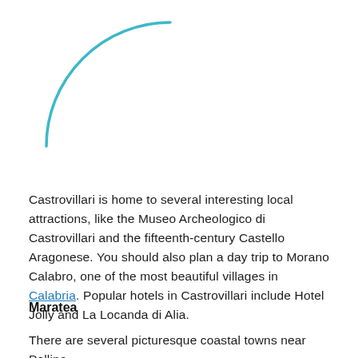[Figure (illustration): Partial teal/cyan crescent arc shape, showing the bottom-left quarter of a circle outline, decorative graphic element]
Castrovillari is home to several interesting local attractions, like the Museo Archeologico di Castrovillari and the fifteenth-century Castello Aragonese. You should also plan a day trip to Morano Calabro, one of the most beautiful villages in Calabria. Popular hotels in Castrovillari include Hotel Jolly and La Locanda di Alia.
Maratea
There are several picturesque coastal towns near Pollino